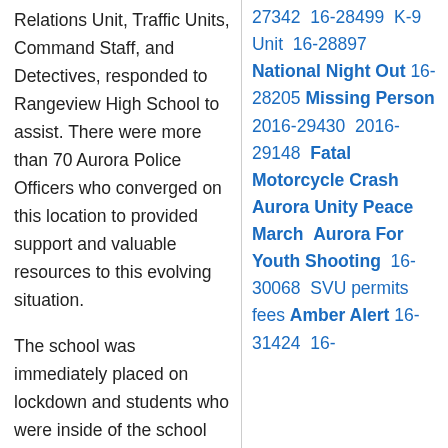Relations Unit, Traffic Units, Command Staff, and Detectives, responded to Rangeview High School to assist. There were more than 70 Aurora Police Officers who converged on this location to provided support and valuable resources to this evolving situation.
The school was immediately placed on lockdown and students who were inside of the school were told to shelter in place. The students who were on the outside of the school building were escorted off school
27342 16-28499 K-9 Unit 16-28897 National Night Out 16-28205 Missing Person 2016-29430 2016-29148 Fatal Motorcycle Crash Aurora Unity Peace March Aurora For Youth Shooting 16-30068 SVU permits fees Amber Alert 16-31424 16-